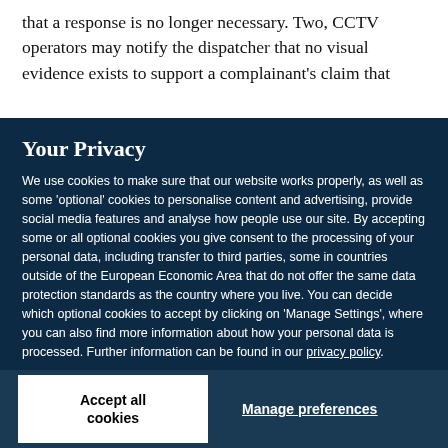that a response is no longer necessary. Two, CCTV operators may notify the dispatcher that no visual evidence exists to support a complainant's claim that
Your Privacy
We use cookies to make sure that our website works properly, as well as some 'optional' cookies to personalise content and advertising, provide social media features and analyse how people use our site. By accepting some or all optional cookies you give consent to the processing of your personal data, including transfer to third parties, some in countries outside of the European Economic Area that do not offer the same data protection standards as the country where you live. You can decide which optional cookies to accept by clicking on 'Manage Settings', where you can also find more information about how your personal data is processed. Further information can be found in our privacy policy.
Accept all cookies
Manage preferences